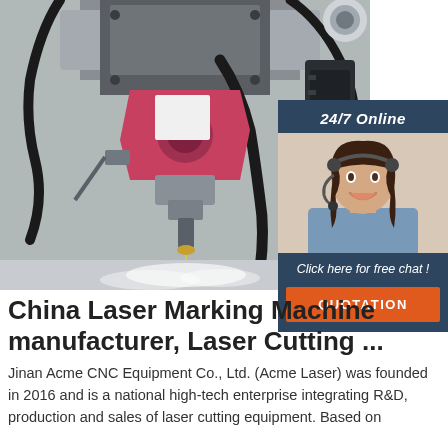[Figure (photo): Close-up photo of a laser cutting machine head/nozzle with black hoses and mechanical components, emitting laser beam onto a surface creating smoke/mist effect]
[Figure (photo): 24/7 Online chat widget sidebar showing a smiling female customer service representative wearing a headset, with dark blue background, 'Click here for free chat!' text and orange QUOTATION button]
China Laser Marking Machine manufacturer, Laser Cutting ...
Jinan Acme CNC Equipment Co., Ltd. (Acme Laser) was founded in 2016 and is a national high-tech enterprise integrating R&D, production and sales of laser cutting equipment. Based on